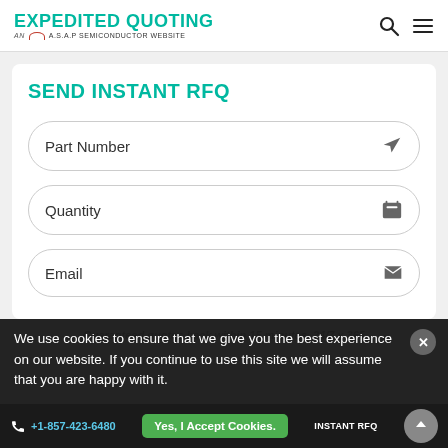EXPEDITED QUOTING — AN A.S.A.P SEMICONDUCTOR WEBSITE
SEND INSTANT RFQ
Part Number
Quantity
Email
Guaranteed quotes back within 15 minutes, 24/7 x 365
We use cookies to ensure that we give you the best experience on our website. If you continue to use this site we will assume that you are happy with it.
Yes, I Accept Cookies.
+1-857-423-6480  SEND INSTANT RFQ